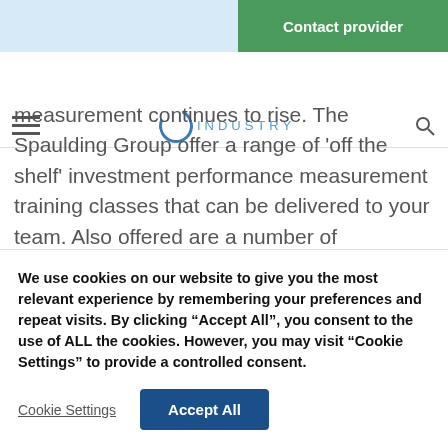Contact provider
[Figure (logo): Navigation bar with hamburger menu, circular logo with INDUSTRY text, and search icon]
measurement continues to rise. The Spaulding Group offer a range of 'off the shelf' investment performance measurement training classes that can be delivered to your team. Also offered are a number of customizable training courses that will better suit an individual organization's unique requirements. These courses are very popular and
We use cookies on our website to give you the most relevant experience by remembering your preferences and repeat visits. By clicking “Accept All”, you consent to the use of ALL the cookies. However, you may visit “Cookie Settings” to provide a controlled consent.
Cookie Settings | Accept All